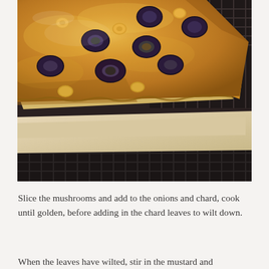[Figure (photo): A golden-brown puff pastry pie with round holes/vents on top revealing a dark filling inside, sitting on a wire rack with parchment paper underneath. The pastry is flaky and well-baked.]
Slice the mushrooms and add to the onions and chard, cook until golden, before adding in the chard leaves to wilt down.
When the leaves have wilted, stir in the mustard and